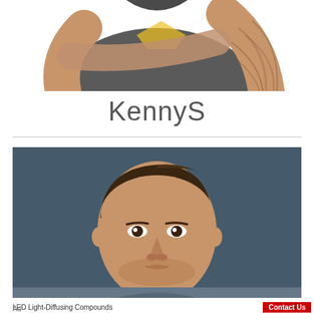[Figure (photo): Cropped photo showing a person with crossed arms wearing a dark t-shirt with yellow logo, with visible tattoo sleeve on forearm]
KennyS
[Figure (photo): Portrait photo of a young man with brown hair against a dark blue-grey background, wearing a casual top]
LED Light-Diffusing Compounds
Contact Us
Ad